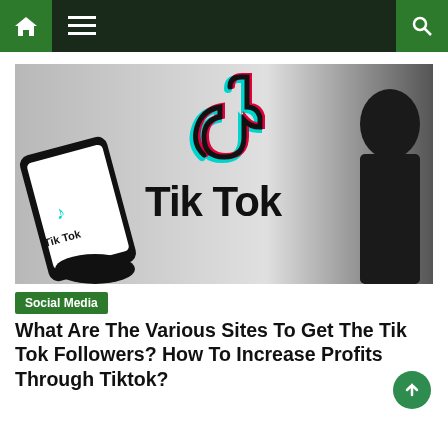Navigation bar with home, menu, and search icons
[Figure (photo): Person holding a smartphone with TikTok logo on screen, with large TikTok logo and text 'Tik Tok' on background, and silhouette of a person's face on the right]
Social Media
What Are The Various Sites To Get The Tik Tok Followers? How To Increase Profits Through Tiktok?